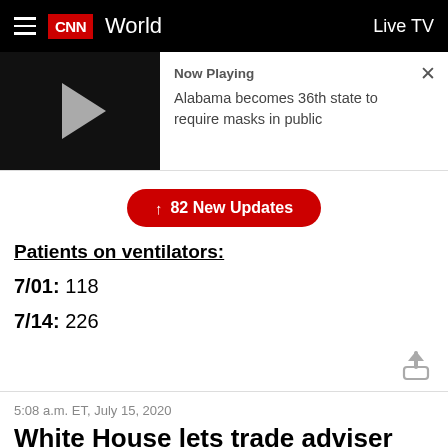CNN  World  Live TV
[Figure (screenshot): Video thumbnail with play button showing 'Now Playing: Alabama becomes 36th state to require masks in public']
↑ 82 New Updates
Patients on ventilators:
7/01: 118
7/14: 226
5:08 a.m. ET, July 15, 2020
White House lets trade adviser